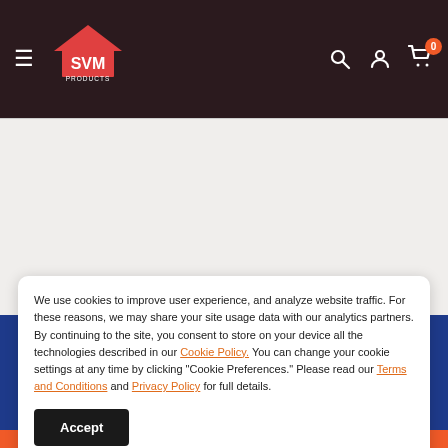[Figure (logo): SVM Products logo with red house roof graphic and white text on dark background header]
Join Us
We use cookies to improve user experience, and analyze website traffic. For these reasons, we may share your site usage data with our analytics partners. By continuing to the site, you consent to store on your device all the technologies described in our Cookie Policy. You can change your cookie settings at any time by clicking "Cookie Preferences." Please read our Terms and Conditions and Privacy Policy for full details.
Accept
Subscribe